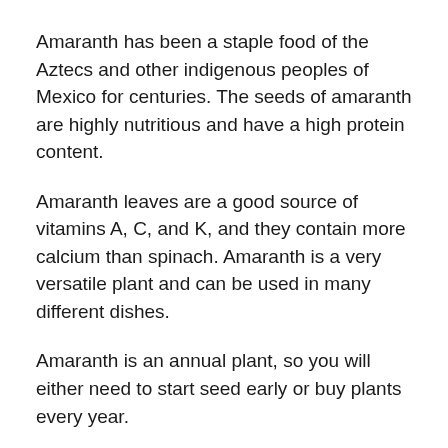Amaranth has been a staple food of the Aztecs and other indigenous peoples of Mexico for centuries. The seeds of amaranth are highly nutritious and have a high protein content.
Amaranth leaves are a good source of vitamins A, C, and K, and they contain more calcium than spinach. Amaranth is a very versatile plant and can be used in many different dishes.
Amaranth is an annual plant, so you will either need to start seed early or buy plants every year.
However, the great thing about annuals is they allow you to experiment and be creative. If you want to try a new color or variety, it's easy to do with an annual.
And since they only last one season, you can change your